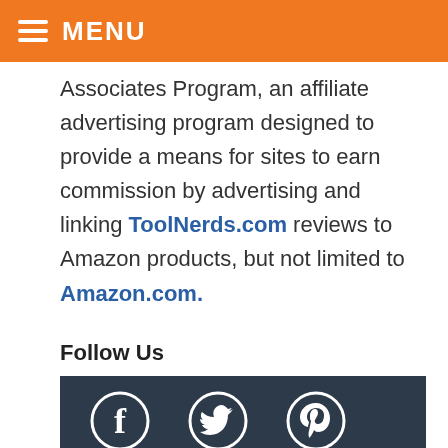MENU
Associates Program, an affiliate advertising program designed to provide a means for sites to earn commission by advertising and linking ToolNerds.com reviews to Amazon products, but not limited to Amazon.com.
Follow Us
[Figure (illustration): Social media icons for Facebook, Twitter, and Pinterest on a dark navy background bar]